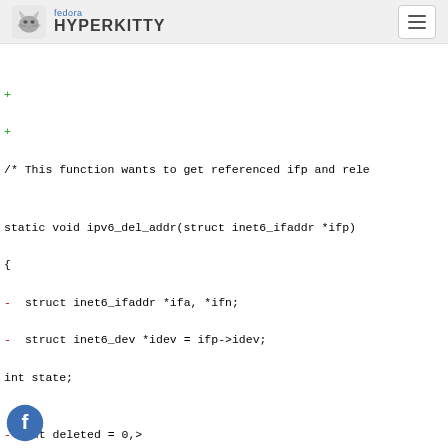fedora HYPERKITTY
+ 
+ 
  /* This function wants to get referenced ifp and rele

 static void ipv6_del_addr(struct inet6_ifaddr *ifp)
 {
-        struct inet6_ifaddr *ifa, *ifn;
-        struct inet6_dev *idev = ifp->idev;
         int state;

-        int deleted = 0, onlink = 0;
-        unsigned long expires = jiffies;
+        enum cleanup_prefix_rt_t action = CLEANUP_PREF
+        unsigned long expires;

         spin_lock_bh(&ifp->state_lock);
         state = ifp->state;
@@ -912,8 +979,8 @@ static void ipv6_del_addr(struct i
         hlist_del_init_rcu(&ifp->addr_lst);
         spin_unlock_bh(&addrconf_hash_lock);